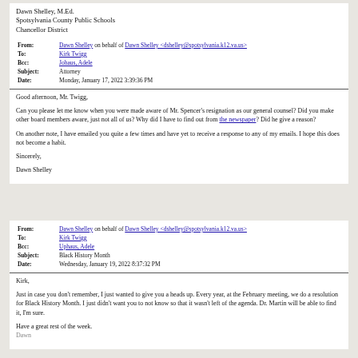Dawn Shelley, M.Ed.
Spotsylvania County Public Schools
Chancellor District
| Field | Value |
| --- | --- |
| From: | Dawn Shelley on behalf of Dawn Shelley <dshelley@spotsylvania.k12.va.us> |
| To: | Kirk Twigg |
| Bcc: | Johaus, Adele |
| Subject: | Attorney |
| Date: | Monday, January 17, 2022 3:39:36 PM |
Good afternoon, Mr. Twigg,

Can you please let me know when you were made aware of Mr. Spencer's resignation as our general counsel? Did you make other board members aware, just not all of us? Why did I have to find out from the newspaper? Did he give a reason?

On another note, I have emailed you quite a few times and have yet to receive a response to any of my emails. I hope this does not become a habit.

Sincerely,

Dawn Shelley
| Field | Value |
| --- | --- |
| From: | Dawn Shelley on behalf of Dawn Shelley <dshelley@spotsylvania.k12.va.us> |
| To: | Kirk Twigg |
| Bcc: | Uphaus, Adele |
| Subject: | Black History Month |
| Date: | Wednesday, January 19, 2022 8:37:32 PM |
Kirk,

Just in case you don't remember, I just wanted to give you a heads up. Every year, at the February meeting, we do a resolution for Black History Month. I just didn't want you to not know so that it wasn't left of the agenda. Dr. Martin will be able to find it, I'm sure.

Have a great rest of the week.
Dawn